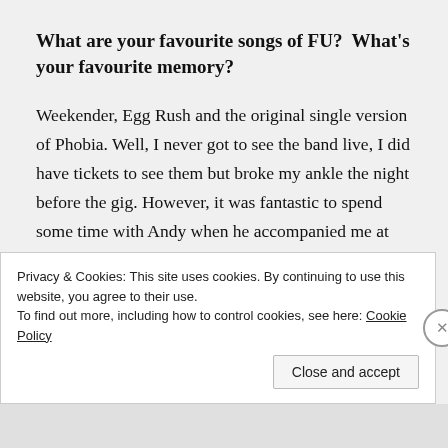What are your favourite songs of FU?  What's your favourite memory?
Weekender, Egg Rush and the original single version of Phobia. Well, I never got to see the band live, I did have tickets to see them but broke my ankle the night before the gig. However, it was fantastic to spend some time with Andy when he accompanied me at the Flowered Up exhibition I did at the Shiine On festival. Loads of fans talking to him about their memories, he got a kick out of it which was really nice to see.
Privacy & Cookies: This site uses cookies. By continuing to use this website, you agree to their use.
To find out more, including how to control cookies, see here: Cookie Policy